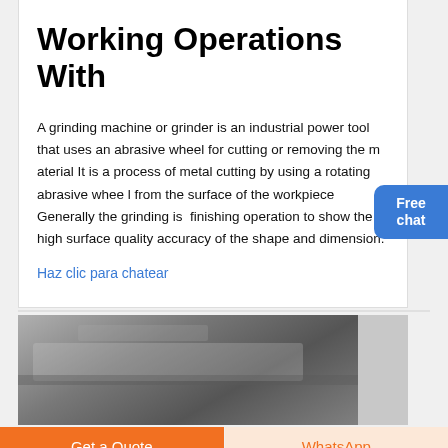Working Operations With
A grinding machine or grinder is an industrial power tool that uses an abrasive wheel for cutting or removing the m aterial It is a process of metal cutting by using a rotating abrasive whee l from the surface of the workpiece Generally the grinding is finishing operation to show the high surface quality accuracy of the shape and dimension.
Haz clic para chatear
[Figure (photo): Black and white photograph showing grinding machine or industrial workpiece with abrasive material on surface]
Get a Quote
WhatsApp